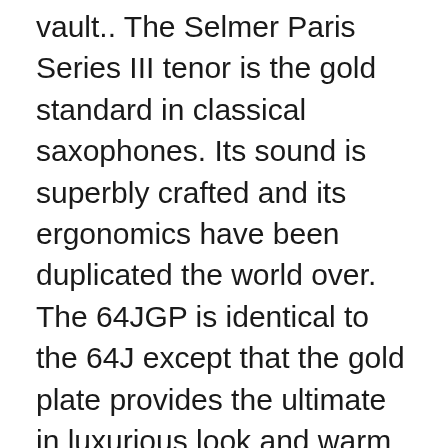vault.. The Selmer Paris Series III tenor is the gold standard in classical saxophones. Its sound is superbly crafted and its ergonomics have been duplicated the world over. The 64JGP is identical to the 64J except that the gold plate provides the ultimate in luxurious look and warm tone. The Series III soprano, alto, tenor and baritone saxophones epitomize speed. Lightning-quick response and flawless ergonomics make these saxophones move; allowing you to perform at the speeds you need in these hyper-fast times. Instead of traditional brass, these saxophones are built on a platform with a slightly higher copper content-creating a rich warm tone that is automatic from the first breath into the